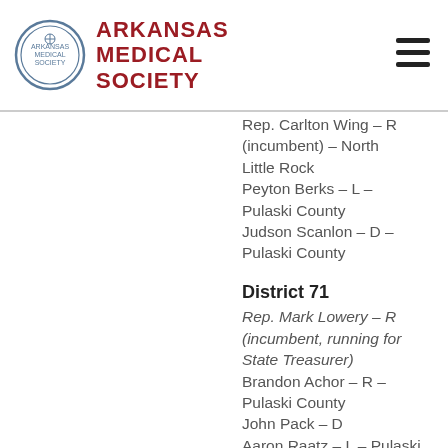ARKANSAS MEDICAL SOCIETY
Rep. Carlton Wing – R (incumbent) – North Little Rock
Peyton Berks – L – Pulaski County
Judson Scanlon – D – Pulaski County
District 71
Rep. Mark Lowery – R (incumbent, running for State Treasurer)
Brandon Achor – R – Pulaski County
John Pack – D
Aaron Raatz – L – Pulaski County
District 72
Rep. Jamie Scott – D (incumbent) – North